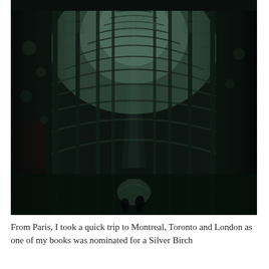[Figure (photo): Interior photograph of a large glass-and-steel atrium or galleria, viewed from ground level looking upward and forward. The arched glass ceiling forms repeating curved ribs stretching into the distance. The space is tall and dramatic, with dark structural columns on both sides and sunlight filtering through the glass panels. A few silhouetted figures are visible at the far end.]
From Paris, I took a quick trip to Montreal, Toronto and London as one of my books was nominated for a Silver Birch